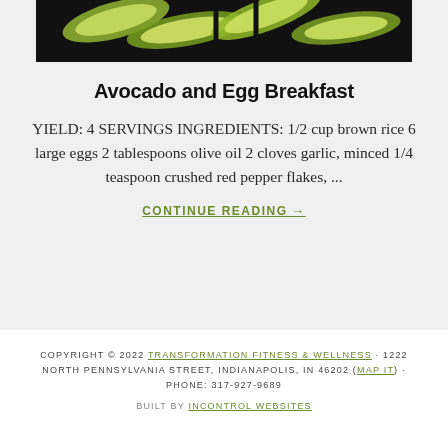[Figure (photo): Close-up photo of avocado slices on a dark background, partially visible at top of page]
Avocado and Egg Breakfast
YIELD: 4 SERVINGS INGREDIENTS: 1/2 cup brown rice 6 large eggs 2 tablespoons olive oil 2 cloves garlic, minced 1/4 teaspoon crushed red pepper flakes, ...
CONTINUE READING →
COPYRIGHT © 2022 TRANSFORMATION FITNESS & WELLNESS · 1222 NORTH PENNSYLVANIA STREET, INDIANAPOLIS, IN 46202 (MAP IT) · PHONE: 317-927-9689
BUILT BY INCONTROL WEBSITES